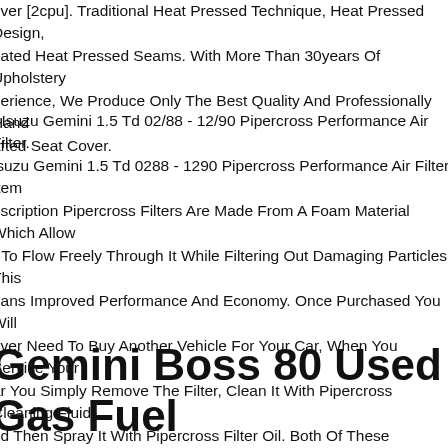over [2cpu]. Traditional Heat Pressed Technique, Heat Pressed Design, eated Heat Pressed Seams. With More Than 30years Of Upholstery perience, We Produce Only The Best Quality And Professionally Hand afted Seat Cover.
r Isuzu Gemini 1.5 Td 02/88 - 12/90 Pipercross Performance Air Filter. Isuzu Gemini 1.5 Td 0288 - 1290 Pipercross Performance Air Filter Item escription Pipercross Filters Are Made From A Foam Material Which Allow r To Flow Freely Through It While Filtering Out Damaging Particles, This eans Improved Performance And Economy. Once Purchased You Will ever Need To Buy Another Vehicle For Your Car, When You Service Your ar You Simply Remove The Filter, Clean It With Pipercross Cleaning Fluid nd Then Spray It With Pipercross Filter Oil. Both Of These Products Are ailable Seperately. This Is A Pipercross Direct Replacement Filter Which eans You Do Not Need To Modify The Car To Fit This Filter. Part Fitment etails Manufacturer Isuzu Model Gemini Spec 1.5 Td Year 0288 - 1290 hape Rect. Panel Size 284mm X 172mm Part Number Pp11.
Gemini Boss 80 Used Gas Fuel Tank